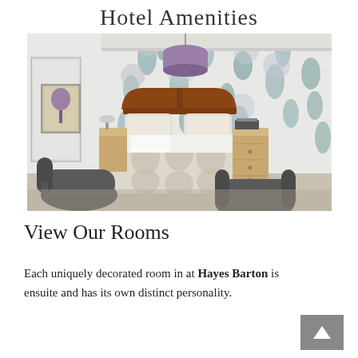Hotel Amenities
[Figure (photo): A hotel bedroom with floral wallpaper, a double bed with patterned bedding, wooden bedside tables, two dark armchairs in the foreground, and a purple lampshade on the ceiling.]
View Our Rooms
Each uniquely decorated room in at Hayes Barton is ensuite and has its own distinct personality.